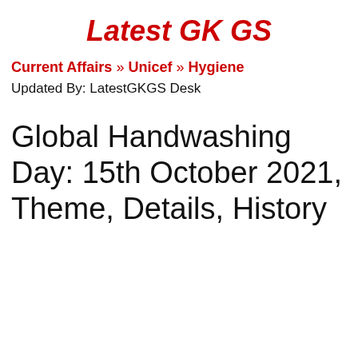Latest GK GS
Current Affairs » Unicef » Hygiene
Updated By: LatestGKGS Desk
Global Handwashing Day: 15th October 2021, Theme, Details, History